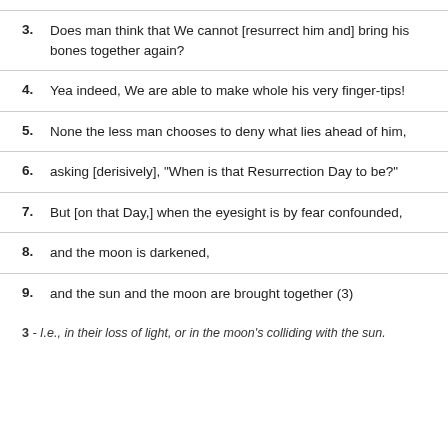3. Does man think that We cannot [resurrect him and] bring his bones together again?
4. Yea indeed, We are able to make whole his very finger-tips!
5. None the less man chooses to deny what lies ahead of him,
6. asking [derisively], "When is that Resurrection Day to be?"
7. But [on that Day,] when the eyesight is by fear confounded,
8. and the moon is darkened,
9. and the sun and the moon are brought together (3)
3 - I.e., in their loss of light, or in the moon's colliding with the sun.